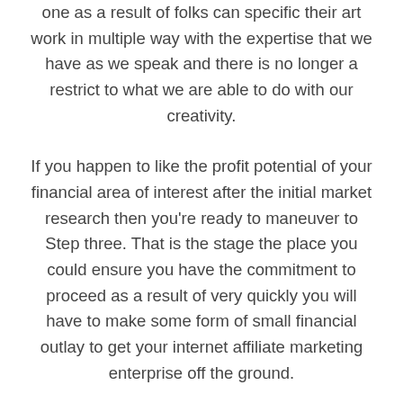Interactive new media has become a real profit to each one as a result of folks can specific their art work in multiple way with the expertise that we have as we speak and there is no longer a restrict to what we are able to do with our creativity.
If you happen to like the profit potential of your financial area of interest after the initial market research then you're ready to maneuver to Step three. That is the stage the place you could ensure you have the commitment to proceed as a result of very quickly you will have to make some form of small financial outlay to get your internet affiliate marketing enterprise off the ground.
Telematics is an commerce that is outlined as the mixing of telecommunications and informatics to supply